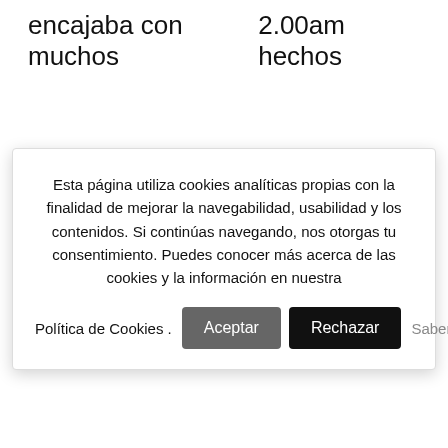encajaba con muchos
2.00am hechos
Esta página utiliza cookies analíticas propias con la finalidad de mejorar la navegabilidad, usabilidad y los contenidos. Si continúas navegando, nos otorgas tu consentimiento. Puedes conocer más acerca de las cookies y la información en nuestra Política de Cookies .
Aceptar
Rechazar
Saber más